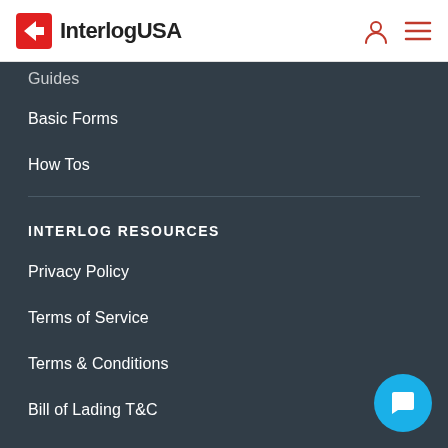InterlogUSA
Guides
Basic Forms
How Tos
INTERLOG RESOURCES
Privacy Policy
Terms of Service
Terms & Conditions
Bill of Lading T&C
Payment
Quotes
Sitemap